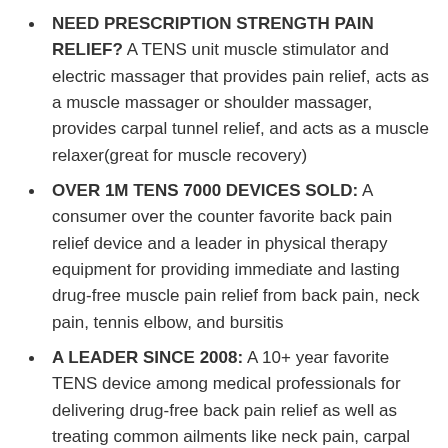NEED PRESCRIPTION STRENGTH PAIN RELIEF? A TENS unit muscle stimulator and electric massager that provides pain relief, acts as a muscle massager or shoulder massager, provides carpal tunnel relief, and acts as a muscle relaxer(great for muscle recovery)
OVER 1M TENS 7000 DEVICES SOLD: A consumer over the counter favorite back pain relief device and a leader in physical therapy equipment for providing immediate and lasting drug-free muscle pain relief from back pain, neck pain, tennis elbow, and bursitis
A LEADER SINCE 2008: A 10+ year favorite TENS device among medical professionals for delivering drug-free back pain relief as well as treating common ailments like neck pain, carpal tunnel relief, arthritis, shoulder, knee, elbow, leg and foot pain
GET IMMEDIATE PAIN RELIEF: TENS...